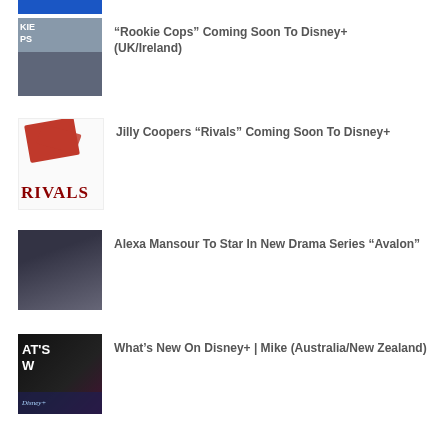[Figure (photo): Blue banner/logo image cropped at top]
“Rookie Cops” Coming Soon To Disney+ (UK/Ireland)
Jilly Coopers “Rivals” Coming Soon To Disney+
Alexa Mansour To Star In New Drama Series “Avalon”
What’s New On Disney+ | Mike (Australia/New Zealand)